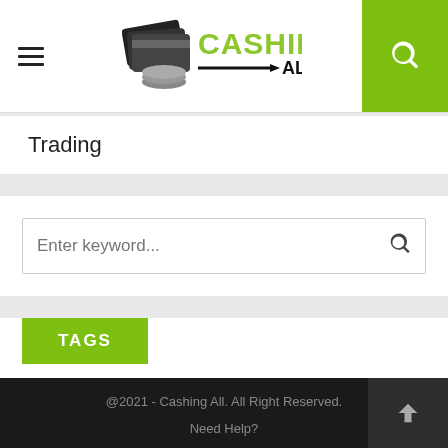Cashing All - header with hamburger menu and search icon
Trading
Enter keyword...
TAGS
BAD CREDIT DEBT CONSOLIDATION LOANS UNSECURED
SMSF LOANS
@2021 - Cashing All. All Right Reserved.
Need Help?